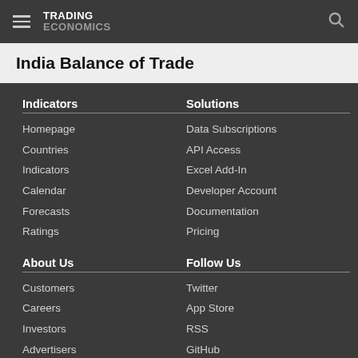TRADING ECONOMICS
India Balance of Trade
Indicators
Homepage
Countries
Indicators
Calendar
Forecasts
Ratings
Solutions
Data Subscriptions
API Access
Excel Add-In
Developer Account
Documentation
Pricing
About Us
Customers
Careers
Investors
Advertisers
About us
Follow Us
Twitter
App Store
RSS
GitHub
Privacy
Copyright ©2022 TRADING ECONOMICS